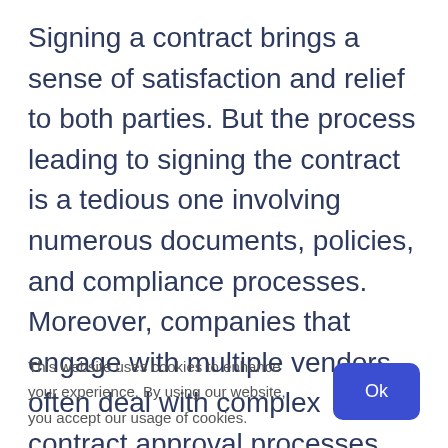Signing a contract brings a sense of satisfaction and relief to both parties. But the process leading to signing the contract is a tedious one involving numerous documents, policies, and compliance processes. Moreover, companies that engage with multiple vendors often deal with complex contract approval processes. Manual approval of contracts can consume a huge chunk of the productive time of the procurement team.
This website uses cookies to enhance your experience. By using our website, you accept our usage of cookies.